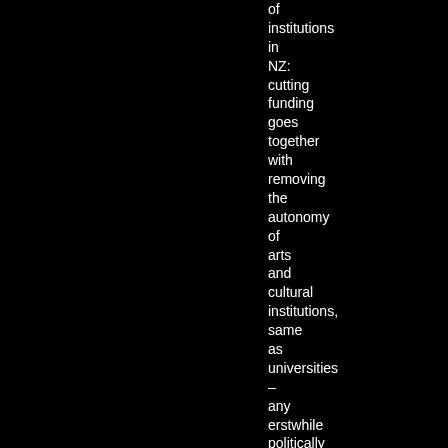of institutions in NZ: cutting funding goes together with removing the autonomy of arts and cultural institutions, same as universities – any erstwhile politically autonomous